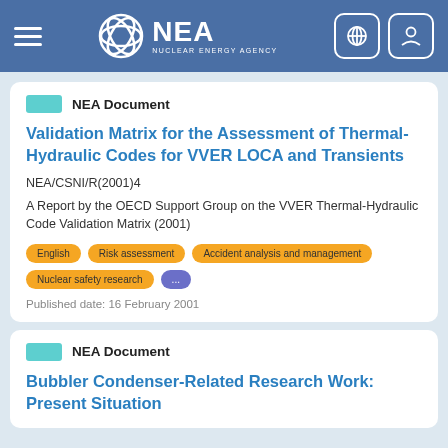NEA - Nuclear Energy Agency
NEA Document
Validation Matrix for the Assessment of Thermal-Hydraulic Codes for VVER LOCA and Transients
NEA/CSNI/R(2001)4
A Report by the OECD Support Group on the VVER Thermal-Hydraulic Code Validation Matrix (2001)
English
Risk assessment
Accident analysis and management
Nuclear safety research
...
Published date: 16 February 2001
NEA Document
Bubbler Condenser-Related Research Work: Present Situation